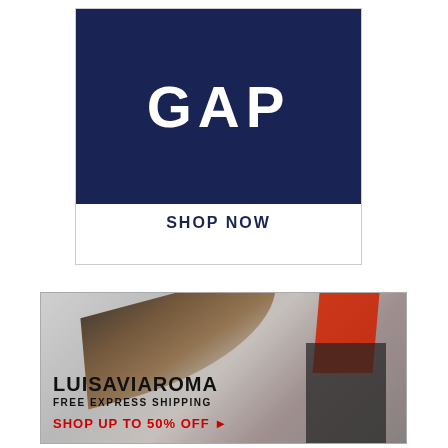[Figure (logo): GAP logo advertisement with dark navy blue background showing 'GAP' in white bold letters, with 'SHOP NOW' text below, enclosed in a thin border rectangle]
[Figure (photo): LUISAVIAROMA fashion advertisement with a female model with long flowing dark hair wearing a red top and black wide-leg trousers against a light gray background. Text reads: LUISAVIAROMA, FREE EXPRESS SHIPPING, SHOP UP TO 50% OFF with arrow]